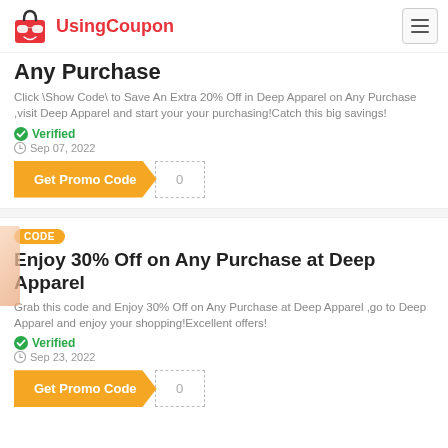UsingCoupon
Any Purchase
Click \Show Code\ to Save An Extra 20% Off in Deep Apparel on Any Purchase ,visit Deep Apparel and start your your purchasing!Catch this big savings!
Verified
Sep 07, 2022
Get Promo Code
CODE
Enjoy 30% Off on Any Purchase at Deep Apparel
Grab this code and Enjoy 30% Off on Any Purchase at Deep Apparel ,go to Deep Apparel and enjoy your shopping!Excellent offers!
Verified
Sep 23, 2022
Get Promo Code